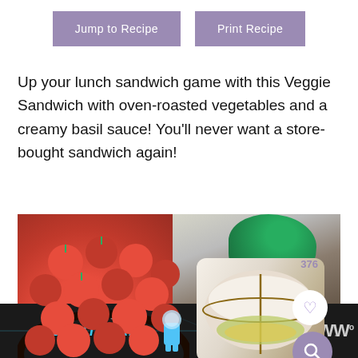Jump to Recipe
Print Recipe
Up your lunch sandwich game with this Veggie Sandwich with oven-roasted vegetables and a creamy basil sauce! You'll never want a store-bought sandwich again!
[Figure (photo): Photo of cherry tomatoes in a dark bowl on the left, and a veggie sandwich with basil leaves on the right. A heart icon button and a search/magnify icon button are overlaid on the right side.]
[Figure (screenshot): Advertisement bar at the bottom showing a Lightyear Disney/Pixar movie ad with the text LIGHTYEAR and a character figure, plus close/dismiss icons and a W logo.]